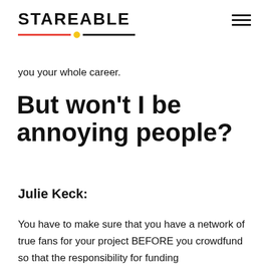STAREABLE
you your whole career.
But won't I be annoying people?
Julie Keck:
You have to make sure that you have a network of true fans for your project BEFORE you crowdfund so that the responsibility for funding